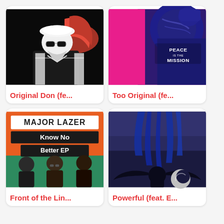[Figure (illustration): Album art for Original Don - black background with white illustrated figure of a man wearing a beret and sunglasses, with red flame/hair accent]
Original Don (fe...
[Figure (illustration): Album art for Too Original - hot pink background with dark blue robotic/armored figure, white text reading PEACE IS THE MISSION]
Too Original (fe...
[Figure (photo): Album art for Major Lazer Know No Better EP - orange/green background with bold black text MAJOR LAZER Know No Better EP and three band members photographed below]
Front of the Lin...
[Figure (illustration): Album art - dark blue/purple background with illustrated winged creature figure and circular moon/disc element, dark atmospheric style]
Powerful (feat. E...